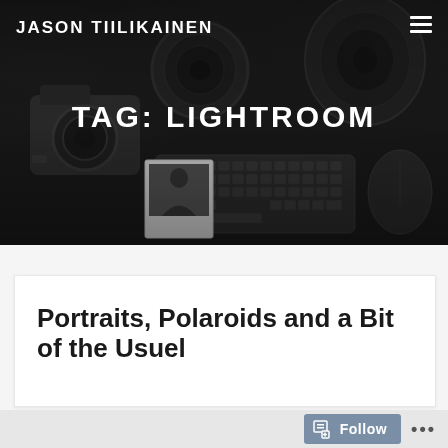JASON TIILIKAINEN
[Figure (photo): Dark overhead photo of photography gear including cameras, lenses, keyboard, mouse and a polaroid photo on a dark background]
TAG: LIGHTROOM
Portraits, Polaroids and a Bit of the Usuel
Follow